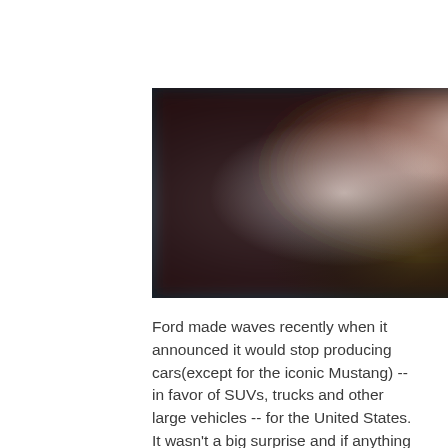[Figure (photo): A blurred photograph showing cars or vehicles, with dark tones on the left and warm reddish-brown tones on the right, with a bright white highlight in the center-left area.]
Ford made waves recently when it announced it would stop producing cars(except for the iconic Mustang) -- in favor of SUVs, trucks and other large vehicles -- for the United States. It wasn't a big surprise and if anything it